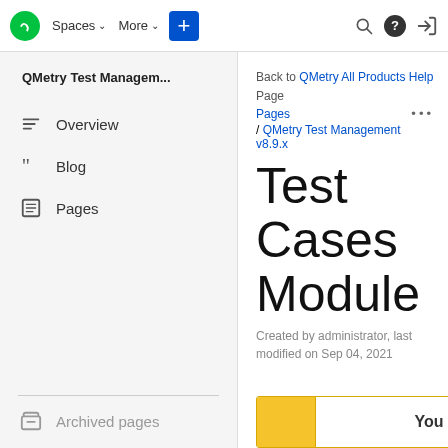QMetry Test Managem... | Spaces | More | + | Search | Help | Login
QMetry Test Managem...
Overview
Blog
Pages
Archived pages
Back to QMetry All Products Help Page
Pages
/ QMetry Test Management v8.9.x
Test Cases Module
Created by administrator, last modified on Sep 04, 2021
You